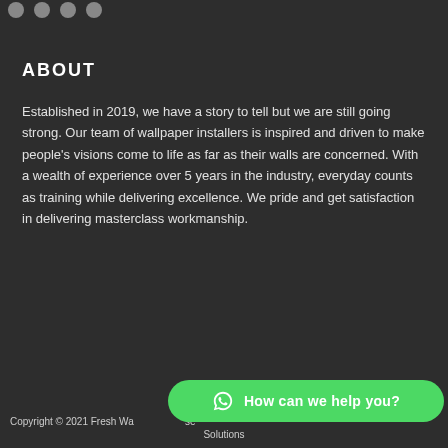ABOUT
Established in 2019, we have a story to tell but we are still going strong. Our team of wallpaper installers is inspired and driven to make people's visions come to life as far as their walls are concerned. With a wealth of experience over 5 years in the industry, everyday counts as training while delivering excellence. We pride and get satisfaction in delivering masterclass workmanship.
Copyright © 2021 Fresh Wa...se Solutions